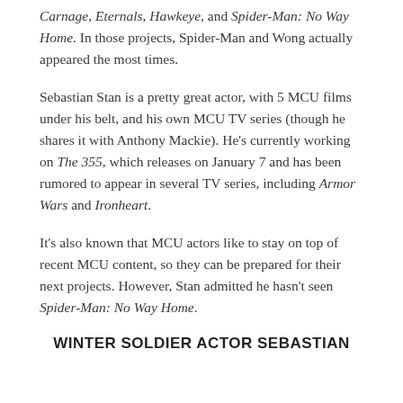Carnage, Eternals, Hawkeye, and Spider-Man: No Way Home. In those projects, Spider-Man and Wong actually appeared the most times.
Sebastian Stan is a pretty great actor, with 5 MCU films under his belt, and his own MCU TV series (though he shares it with Anthony Mackie). He's currently working on The 355, which releases on January 7 and has been rumored to appear in several TV series, including Armor Wars and Ironheart.
It's also known that MCU actors like to stay on top of recent MCU content, so they can be prepared for their next projects. However, Stan admitted he hasn't seen Spider-Man: No Way Home.
WINTER SOLDIER ACTOR SEBASTIAN